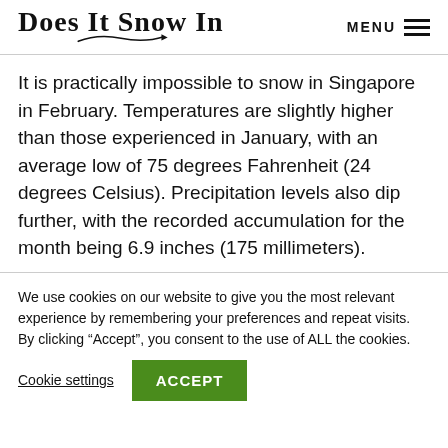Does It Snow In | MENU
It is practically impossible to snow in Singapore in February. Temperatures are slightly higher than those experienced in January, with an average low of 75 degrees Fahrenheit (24 degrees Celsius). Precipitation levels also dip further, with the recorded accumulation for the month being 6.9 inches (175 millimeters).
We use cookies on our website to give you the most relevant experience by remembering your preferences and repeat visits. By clicking “Accept”, you consent to the use of ALL the cookies.
Cookie settings | ACCEPT